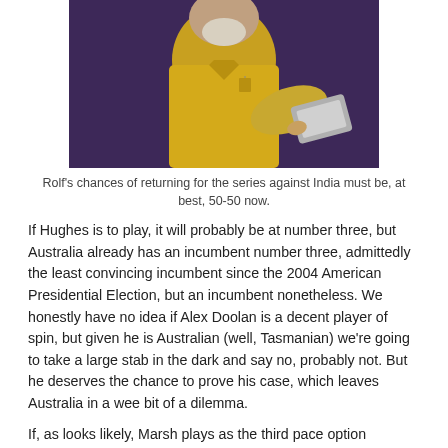[Figure (photo): A man wearing a yellow shirt, photographed against a dark purple background, holding what appears to be a book or clipboard extended toward the camera. Only the upper body is visible.]
Rolf's chances of returning for the series against India must be, at best, 50-50 now.
If Hughes is to play, it will probably be at number three, but Australia already has an incumbent number three, admittedly the least convincing incumbent since the 2004 American Presidential Election, but an incumbent nonetheless. We honestly have no idea if Alex Doolan is a decent player of spin, but given he is Australian (well, Tasmanian) we're going to take a large stab in the dark and say no, probably not. But he deserves the chance to prove his case, which leaves Australia in a wee bit of a dilemma.
If, as looks likely, Marsh plays as the third pace option (nobody would ever describe Watson's bowling as 'pace' these days), the batting looks extremely flimsy. Given Watson would probably take the number four spot if Clarke is out (he'd probably cry if they didn't let him have it), numbers six, seven and eight would have